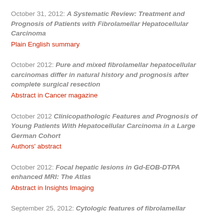October 31, 2012: A Systematic Review: Treatment and Prognosis of Patients with Fibrolamellar Hepatocellular Carcinoma
Plain English summary
October 2012: Pure and mixed fibrolamellar hepatocellular carcinomas differ in natural history and prognosis after complete surgical resection
Abstract in Cancer magazine
October 2012 Clinicopathologic Features and Prognosis of Young Patients With Hepatocellular Carcinoma in a Large German Cohort
Authors' abstract
October 2012: Focal hepatic lesions in Gd-EOB-DTPA enhanced MRI: The Atlas
Abstract in Insights Imaging
September 25, 2012: Cytologic features of fibrolamellar